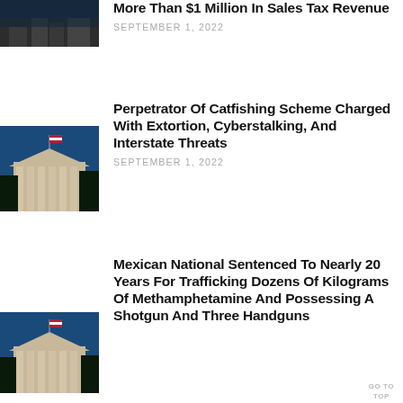[Figure (photo): Exterior of government building (partially visible top)]
More Than $1 Million In Sales Tax Revenue
SEPTEMBER 1, 2022
[Figure (photo): Government building with columns and American flag against blue sky]
Perpetrator Of Catfishing Scheme Charged With Extortion, Cyberstalking, And Interstate Threats
SEPTEMBER 1, 2022
[Figure (photo): Government building with columns and American flag against blue sky]
Mexican National Sentenced To Nearly 20 Years For Trafficking Dozens Of Kilograms Of Methamphetamine And Possessing A Shotgun And Three Handguns
GO TO TOP